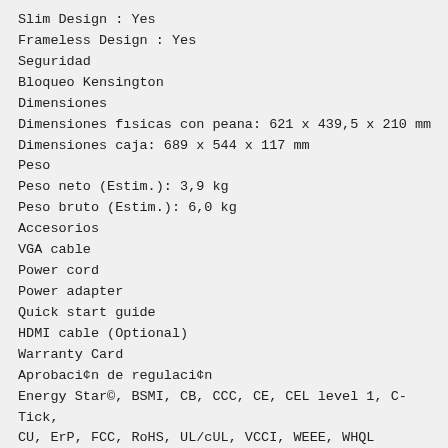Slim Design : Yes
Frameless Design : Yes
Seguridad
Bloqueo Kensington
Dimensiones
Dimensiones físicas con peana: 621 x 439,5 x 210 mm
Dimensiones caja: 689 x 544 x 117 mm
Peso
Peso neto (Estim.): 3,9 kg
Peso bruto (Estim.): 6,0 kg
Accesorios
VGA cable
Power cord
Power adapter
Quick start guide
HDMI cable (Optional)
Warranty Card
Aprobaci¢n de regulaci¢n
Energy Star©, BSMI, CB, CCC, CE, CEL level 1, C-Tick, CU, ErP, FCC, RoHS, UL/cUL, VCCI, WEEE, WHQL